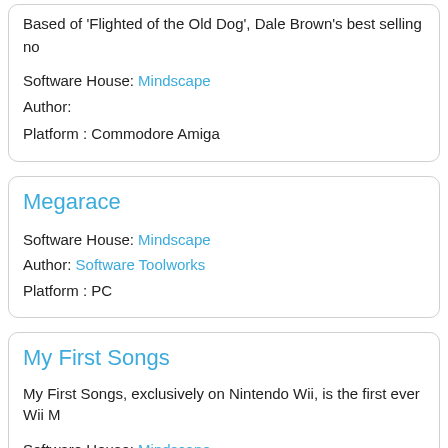Based of 'Flighted of the Old Dog', Dale Brown's best selling no
Software House: Mindscape
Author:
Platform : Commodore Amiga
Megarace
Software House: Mindscape
Author: Software Toolworks
Platform : PC
My First Songs
My First Songs, exclusively on Nintendo Wii, is the first ever Wii M
Software House: Mindscape
Author:
Platform : Nintendo Wii